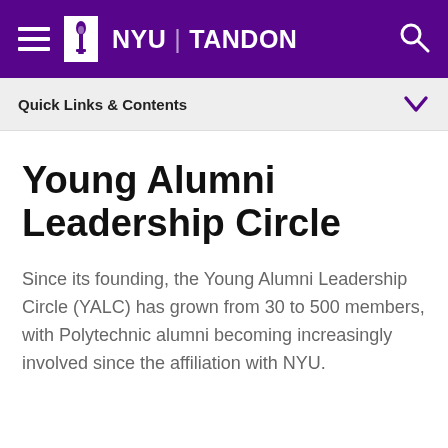NYU TANDON
Quick Links & Contents
Young Alumni Leadership Circle
Since its founding, the Young Alumni Leadership Circle (YALC) has grown from 30 to 500 members, with Polytechnic alumni becoming increasingly involved since the affiliation with NYU.